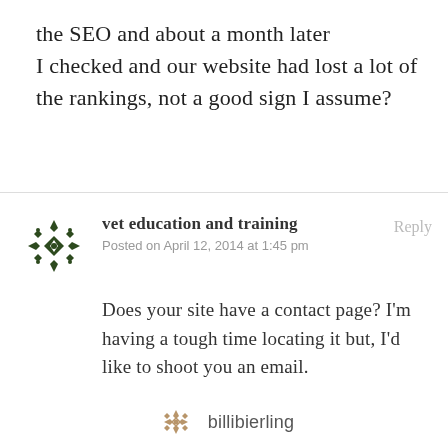the SEO and about a month later I checked and our website had lost a lot of the rankings, not a good sign I assume?
vet education and training
Posted on April 12, 2014 at 1:45 pm

Does your site have a contact page? I'm having a tough time locating it but, I'd like to shoot you an email.

I've got some suggestions for your blog
billibierling